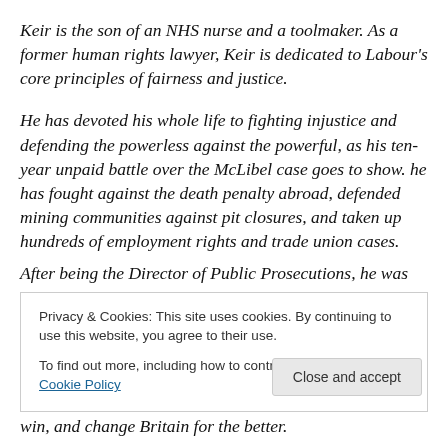Keir is the son of an NHS nurse and a toolmaker. As a former human rights lawyer, Keir is dedicated to Labour's core principles of fairness and justice.
He has devoted his whole life to fighting injustice and defending the powerless against the powerful, as his ten-year unpaid battle over the McLibel case goes to show. he has fought against the death penalty abroad, defended mining communities against pit closures, and taken up hundreds of employment rights and trade union cases. After being the Director of Public Prosecutions, he was
Privacy & Cookies: This site uses cookies. By continuing to use this website, you agree to their use.
To find out more, including how to control cookies, see here: Cookie Policy
Close and accept
win, and change Britain for the better.